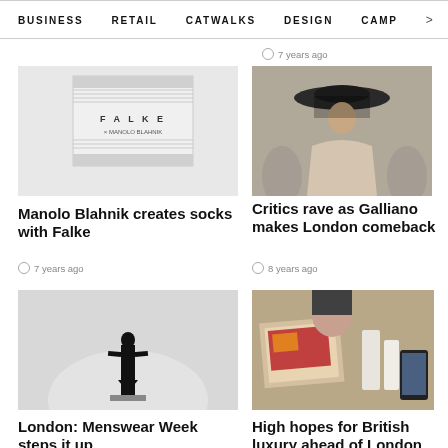BUSINESS  RETAIL  CATWALKS  DESIGN  CAMP  >
7 years ago
[Figure (photo): Product shot of FALKE x Manolo Blahnik sock packaging box in grey and white]
Manolo Blahnik creates socks with Falke
7 years ago
[Figure (photo): Fashion model on catwalk wearing a large black wide-brim hat and dark outfit]
Critics rave as Galliano makes London comeback
8 years ago
[Figure (photo): Silhouette of a person in black standing on a platform against a bright grey background — menswear editorial]
London: Menswear Week steps it up
[Figure (photo): Cluttered desk scene with fashion images, beauty products, and a smartphone — British luxury editorial]
High hopes for British luxury ahead of London